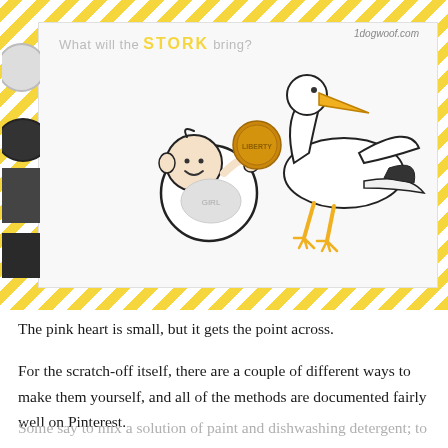[Figure (photo): Photo of a baby shower scratch-off card with yellow diagonal stripe border. The white card inside reads 'What will the STORK bring?' with a cartoon stork carrying a baby. A penny coin is visible. The background shows craft materials. Watermark reads '1dogwoof.com'.]
The pink heart is small, but it gets the point across.
For the scratch-off itself, there are a couple of different ways to make them yourself, and all of the methods are documented fairly well on Pinterest.
Some say to mix a solution of paint and dishwashing detergent; to pre-wax the area before